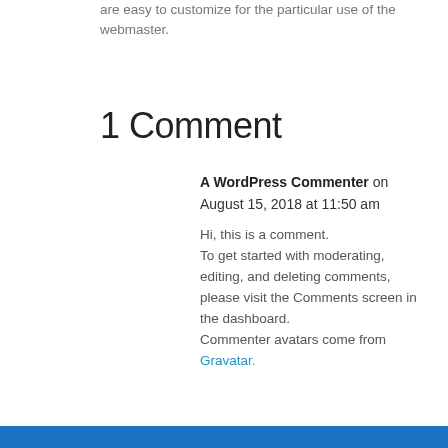are easy to customize for the particular use of the webmaster.
1 Comment
A WordPress Commenter on August 15, 2018 at 11:50 am
Hi, this is a comment.
To get started with moderating, editing, and deleting comments, please visit the Comments screen in the dashboard.
Commenter avatars come from Gravatar.